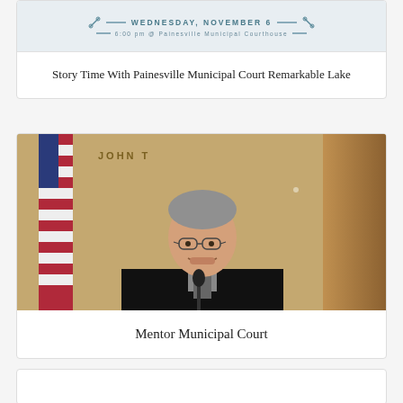[Figure (infographic): Event announcement graphic: Wednesday November 6, 6:00 pm @ Painesville Municipal Courthouse, with decorative scissors and lines]
Story Time With Painesville Municipal Court Remarkable Lake
[Figure (photo): A judge in black robes sitting at a bench, smiling, with an American flag and wooden panel in background, partial sign reading JOHN T...]
Mentor Municipal Court